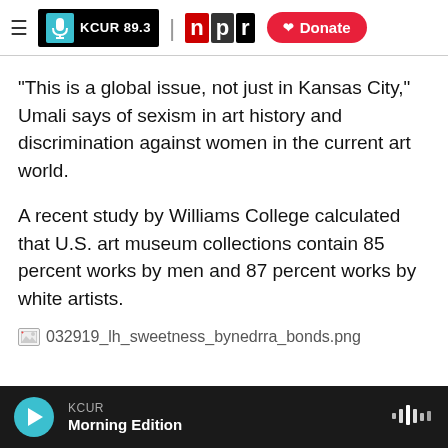KCUR 89.3 | npr | Donate
"This is a global issue, not just in Kansas City," Umali says of sexism in art history and discrimination against women in the current art world.
A recent study by Williams College calculated that U.S. art museum collections contain 85 percent works by men and 87 percent works by white artists.
[Figure (other): Broken image placeholder for 032919_lh_sweetness_bynedrra_bonds.png]
KCUR Morning Edition